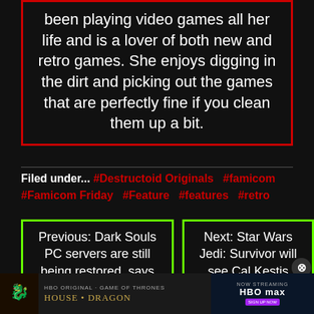been playing video games all her life and is a lover of both new and retro games. She enjoys digging in the dirt and picking out the games that are perfectly fine if you clean them up a bit.
Filed under... #Destructoid Originals #famicom #Famicom Friday #Feature #features #retro
Previous: Dark Souls PC servers are still being restored, says From Software
Next: Star Wars Jedi: Survivor will see Cal Kestis return in 2023
[Figure (screenshot): HBO Max advertisement for House of the Dragon at the bottom of the page]